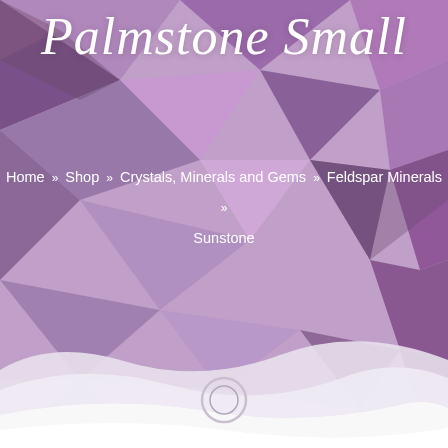[Figure (illustration): Purple polygonal low-poly geometric background with faceted triangular mosaic pattern in shades of purple, lavender and mauve, with a white wave shape at the bottom transitioning to white background]
Palmstone Small
Home » Shop » Crystals, Minerals and Gems » Feldspar Minerals » Sunstone
[Figure (other): USD currency selector button, dark blue-grey rectangle on right edge]
[Figure (other): Light grey circular plus button on the right side]
[Figure (other): Small circular loading indicator at the bottom center of the page]